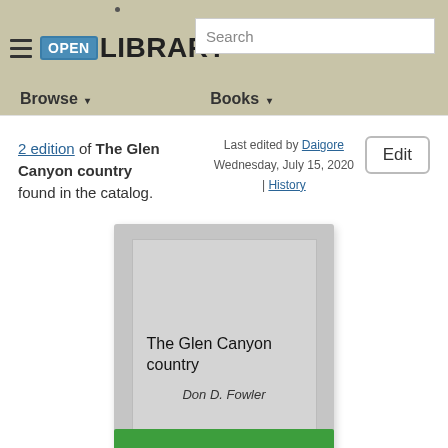Open Library — Browse | Books | Search
2 edition of The Glen Canyon country found in the catalog.
Last edited by Daigore Wednesday, July 15, 2020 | History
Edit
[Figure (illustration): Book cover placeholder for 'The Glen Canyon country' by Don D. Fowler — grey rectangle with title and author text]
The Glen Canyon country — Don D. Fowler